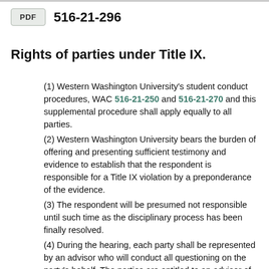PDF  516-21-296
Rights of parties under Title IX.
(1) Western Washington University's student conduct procedures, WAC 516-21-250 and 516-21-270 and this supplemental procedure shall apply equally to all parties.
(2) Western Washington University bears the burden of offering and presenting sufficient testimony and evidence to establish that the respondent is responsible for a Title IX violation by a preponderance of the evidence.
(3) The respondent will be presumed not responsible until such time as the disciplinary process has been finally resolved.
(4) During the hearing, each party shall be represented by an advisor who will conduct all questioning on the party's behalf. The parties are entitled to an advisor of their own choosing and the advisor may be an attorney. If a party does not choose